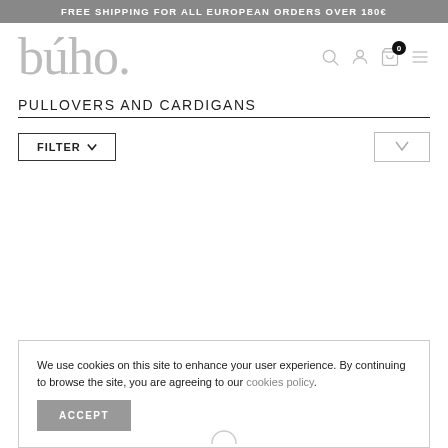FREE SHIPPING FOR ALL EUROPEAN ORDERS OVER 180€
[Figure (logo): búho. brand logo in light grey serif font]
PULLOVERS AND CARDIGANS
FILTER ∨
We use cookies on this site to enhance your user experience. By continuing to browse the site, you are agreeing to our cookies policy.
ACCEPT